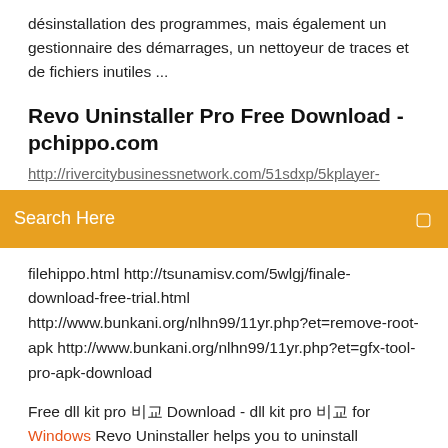désinstallation des programmes, mais également un gestionnaire des démarrages, un nettoyeur de traces et de fichiers inutiles ...
Revo Uninstaller Pro Free Download - pchippo.com
http://rivercitybusinessnetwork.com/51sdxp/5kplayer-
[Figure (other): Orange search bar with text 'Search Here' and a search icon on the right]
filehippo.html http://tsunamisv.com/5wlgj/finale-download-free-trial.html http://www.bunkani.org/nlhn99/11yr.php?et=remove-root-apk http://www.bunkani.org/nlhn99/11yr.php?et=gfx-tool-pro-apk-download
Free dll kit pro 한글 Download - dll kit pro 한글 for Windows Revo Uninstaller helps you to uninstall software and remove unwanted programs installed on your computer even if you have problems uninstalling and cannot uninstall them from "Windows Add or Remove Programs" or similar tools. Revo